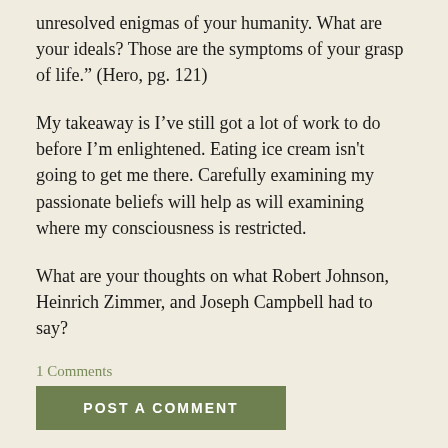unresolved enigmas of your humanity. What are your ideals? Those are the symptoms of your grasp of life." (Hero, pg. 121)
My takeaway is I've still got a lot of work to do before I'm enlightened. Eating ice cream isn't going to get me there. Carefully examining my passionate beliefs will help as will examining where my consciousness is restricted.
What are your thoughts on what Robert Johnson, Heinrich Zimmer, and Joseph Campbell had to say?
1 Comments
POST A COMMENT